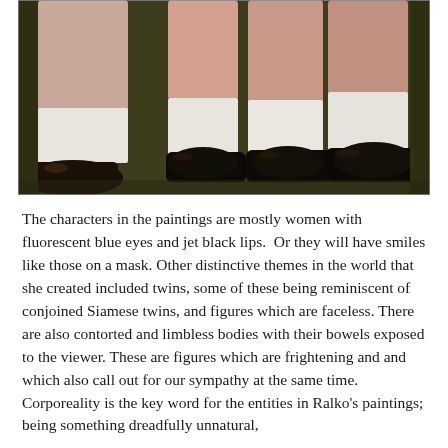[Figure (photo): A painting showing lower legs and feet of figures wearing white socks and black shoes, set against a dark olive-green background. The style is expressionistic with visible brushwork.]
The characters in the paintings are mostly women with fluorescent blue eyes and jet black lips.  Or they will have smiles like those on a mask. Other distinctive themes in the world that she created included twins, some of these being reminiscent of conjoined Siamese twins, and figures which are faceless. There are also contorted and limbless bodies with their bowels exposed to the viewer. These are figures which are frightening and and which also call out for our sympathy at the same time. Corporeality is the key word for the entities in Ralko's paintings; being something dreadfully unnatural,